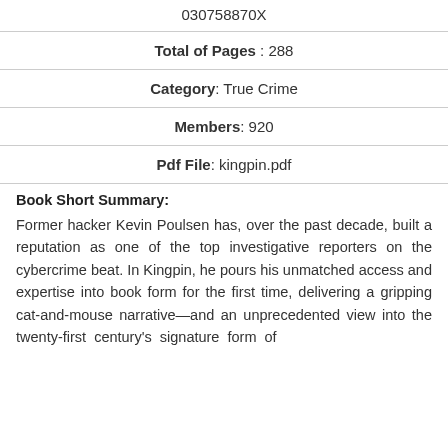030758870X
Total of Pages : 288
Category : True Crime
Members : 920
Pdf File: kingpin.pdf
Book Short Summary:
Former hacker Kevin Poulsen has, over the past decade, built a reputation as one of the top investigative reporters on the cybercrime beat. In Kingpin, he pours his unmatched access and expertise into book form for the first time, delivering a gripping cat-and-mouse narrative—and an unprecedented view into the twenty-first century's signature form of